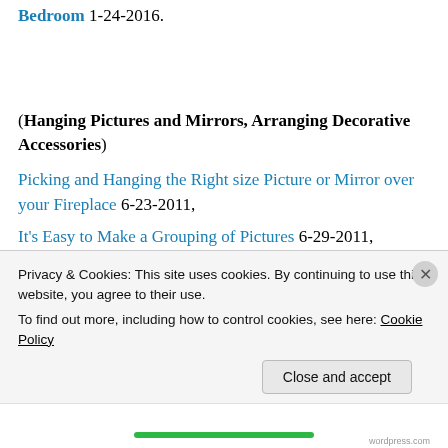Bedroom 1-24-2016.
(Hanging Pictures and Mirrors, Arranging Decorative Accessories)
Picking and Hanging the Right size Picture or Mirror over your Fireplace 6-23-2011,
It's Easy to Make a Grouping of Pictures 6-29-2011,
Making an Interesting Arrangement of Pictures 7-8-2011,
Privacy & Cookies: This site uses cookies. By continuing to use this website, you agree to their use. To find out more, including how to control cookies, see here: Cookie Policy
Close and accept